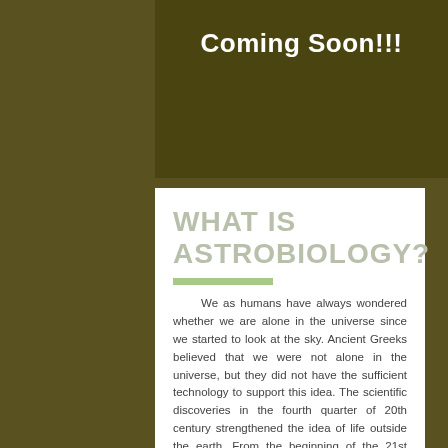Coming Soon!!!
WHAT IS ASTROBIOLOGY?
We as humans have always wondered whether we are alone in the universe since we started to look at the sky. Ancient Greeks believed that we were not alone in the universe, but they did not have the sufficient technology to support this idea. The scientific discoveries in the fourth quarter of 20th century strengthened the idea of life outside the earth. From the beginning of the 21st century scientists have been studying